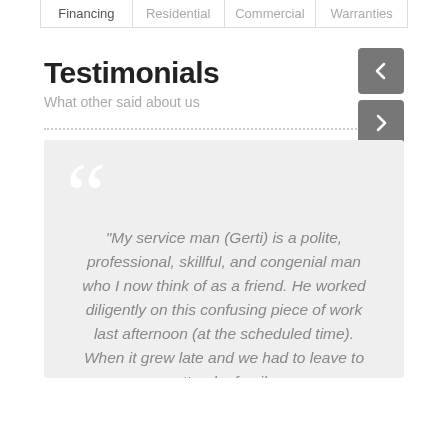Financing | Residential | Commercial | Warranties
Testimonials
What other said about us
“My service man (Gerti) is a polite, professional, skillful, and congenial man who I now think of as a friend. He worked diligently on this confusing piece of work last afternoon (at the scheduled time). When it grew late and we had to leave to attend a family